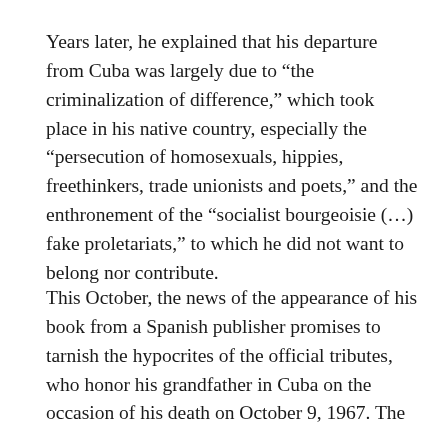Years later, he explained that his departure from Cuba was largely due to “the criminalization of difference,” which took place in his native country, especially the “persecution of homosexuals, hippies, freethinkers, trade unionists and poets,” and the enthronement of the “socialist bourgeoisie (…) fake proletariats,” to which he did not want to belong nor contribute.
This October, the news of the appearance of his book from a Spanish publisher promises to tarnish the hypocrites of the official tributes, who honor his grandfather in Cuba on the occasion of his death on October 9, 1967. The